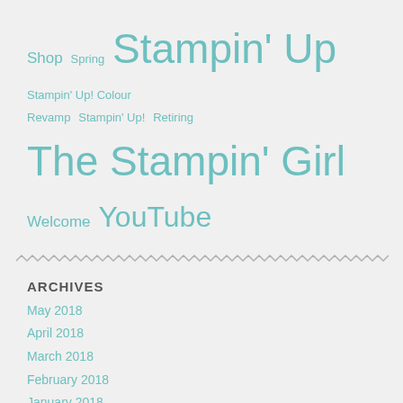Shop Spring Stampin' Up Stampin' Up! Colour Revamp Stampin' Up! Retiring The Stampin' Girl Welcome YouTube
[Figure (illustration): Wavy/zigzag decorative divider line in light grey]
ARCHIVES
May 2018
April 2018
March 2018
February 2018
January 2018
November 2017
September 2017
August 2017